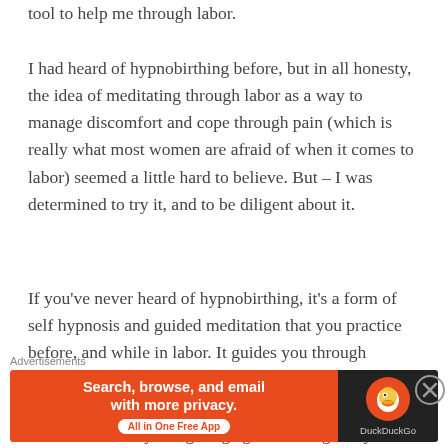tool to help me through labor.
I had heard of hypnobirthing before, but in all honesty, the idea of meditating through labor as a way to manage discomfort and cope through pain (which is really what most women are afraid of when it comes to labor) seemed a little hard to believe. But – I was determined to try it, and to be diligent about it.
If you've never heard of hypnobirthing, it's a form of self hypnosis and guided meditation that you practice before, and while in labor. It guides you through breathing techniques and positive birth imagery and affirmations. It helps your body to relax, and allows it to labor without you fighting against it. It gives you something to focus on to
[Figure (screenshot): Advertisement banner for DuckDuckGo browser app. Left side has orange background with text 'Search, browse, and email with more privacy. All in One Free App'. Right side has dark background with DuckDuckGo duck logo and 'DuckDuckGo' text. A close (X) button appears to the right.]